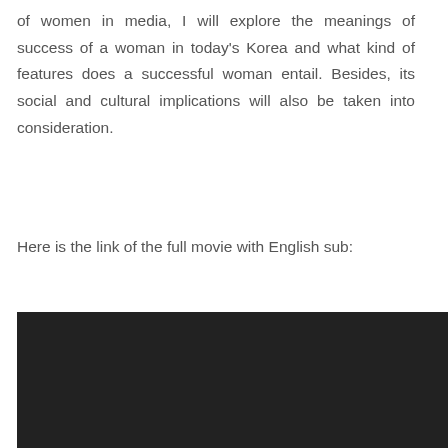of women in media, I will explore the meanings of success of a woman in today's Korea and what kind of features does a successful woman entail. Besides, its social and cultural implications will also be taken into consideration.
Here is the link of the full movie with English sub:
[Figure (screenshot): A dark/black video player embedded in the page]